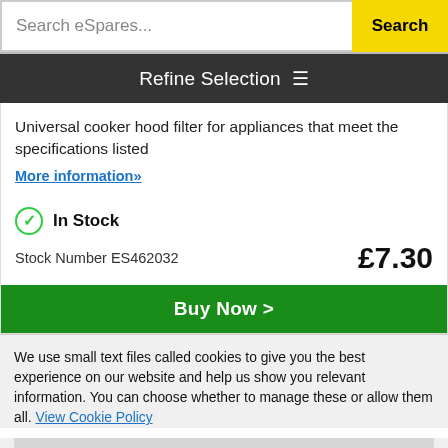Search eSpares...  Search
Refine Selection
Universal cooker hood filter for appliances that meet the specifications listed
More information»
In Stock
Stock Number ES462032  £7.30
Buy Now >
We use small text files called cookies to give you the best experience on our website and help us show you relevant information. You can choose whether to manage these or allow them all. View Cookie Policy
Manage Cookies
Allow All